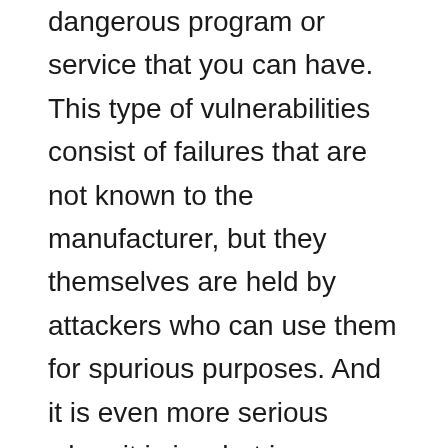dangerous program or service that you can have. This type of vulnerabilities consist of failures that are not known to the manufacturer, but they themselves are held by attackers who can use them for spurious purposes. And it is even more serious when it is in what is supposedly the safer anonymity network “Tor”.
The Onion Router is an anonymity software which provides a safe heaven to the human rights activists, journalists, government officials. But, along with all this, it is also a place where drugs, assassins for hire, child pornography, and other illegal activities have allegedly been